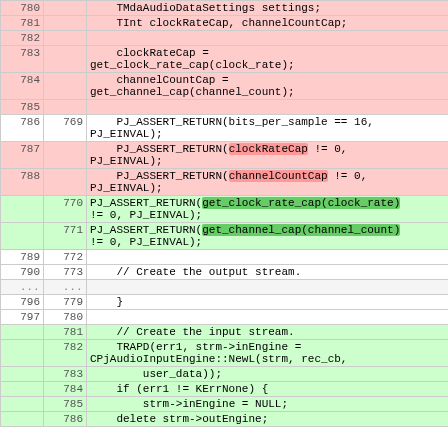| old | new | code |
| --- | --- | --- |
| 780 |  |     TMdaAudioDataSettings settings; |
| 781 |  |     TInt clockRateCap, channelCountCap; |
| 782 |  |  |
| 783 |  |     clockRateCap =
get_clock_rate_cap(clock_rate); |
| 784 |  |     channelCountCap =
get_channel_cap(channel_count); |
| 785 |  |  |
| 786 | 769 |     PJ_ASSERT_RETURN(bits_per_sample == 16,
PJ_EINVAL); |
| 787 |  |     PJ_ASSERT_RETURN(clockRateCap != 0,
PJ_EINVAL); |
| 788 |  |     PJ_ASSERT_RETURN(channelCountCap != 0,
PJ_EINVAL); |
|  | 770 | PJ_ASSERT_RETURN(get_clock_rate_cap(clock_rate)
!= 0, PJ_EINVAL); |
|  | 771 | PJ_ASSERT_RETURN(get_channel_cap(channel_count)
!= 0, PJ_EINVAL); |
| 789 | 772 |  |
| 790 | 773 |     // Create the output stream. |
| ... | ... |  |
| 796 | 779 |     } |
| 797 | 780 |  |
|  | 781 |     // Create the input stream. |
|  | 782 |     TRAPD(err1, strm->inEngine =
CPjAudioInputEngine::NewL(strm, rec_cb, |
|  | 783 |         user_data)); |
|  | 784 |     if (err1 != KErrNone) { |
|  | 785 |         strm->inEngine = NULL; |
|  | 786 |     delete strm->outEngine; |